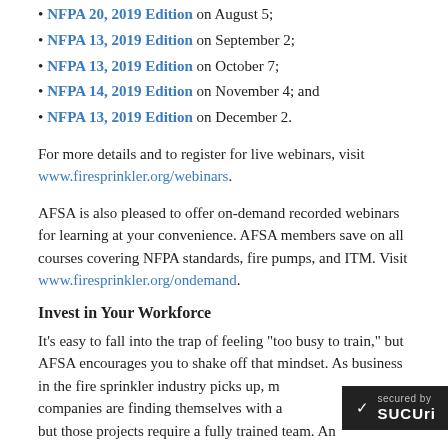NFPA 20, 2019 Edition on August 5;
NFPA 13, 2019 Edition on September 2;
NFPA 13, 2019 Edition on October 7;
NFPA 14, 2019 Edition on November 4; and
NFPA 13, 2019 Edition on December 2.
For more details and to register for live webinars, visit www.firesprinkler.org/webinars.
AFSA is also pleased to offer on-demand recorded webinars for learning at your convenience. AFSA members save on all courses covering NFPA standards, fire pumps, and ITM. Visit www.firesprinkler.org/ondemand.
Invest in Your Workforce
It’s easy to fall into the trap of feeling “too busy to train,” but AFSA encourages you to shake off that mindset. As business in the fire sprinkler industry picks up, more companies are finding themselves with a tackle, but those projects require a fully trained team. An